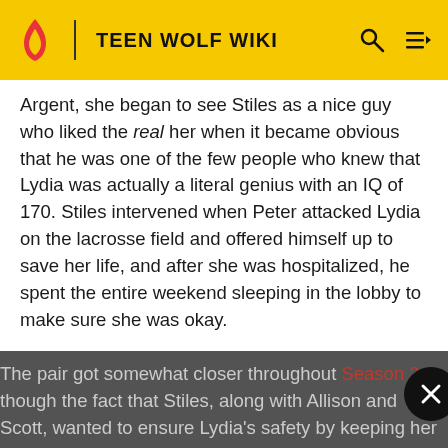TEEN WOLF WIKI
Argent, she began to see Stiles as a nice guy who liked the real her when it became obvious that he was one of the few people who knew that Lydia was actually a literal genius with an IQ of 170. Stiles intervened when Peter attacked Lydia on the lacrosse field and offered himself up to save her life, and after she was hospitalized, he spent the entire weekend sleeping in the lobby to make sure she was okay.
The pair got somewhat closer throughout Season 2, though the fact that Stiles, along with Allison and Scott, wanted to ensure Lydia's safety by keeping her in the dark about the supernatural (combined with the terrifying side-effects Lydia was experiencing on her own as a result of her newly activated Banshee's power, and Peter